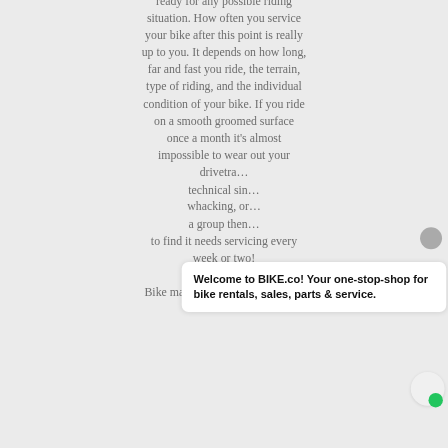ready for any possible riding situation. How often you service your bike after this point is really up to you. It depends on how long, far and fast you ride, the terrain, type of riding, and the individual condition of your bike. If you ride on a smooth groomed surface once a month it's almost impossible to wear out your drivetrain… technical sin… whacking, or… a group then… to find it needs servicing every week or two!
[Figure (other): Chat popup bubble with text: Welcome to BIKE.co! Your one-stop-shop for bike rentals, sales, parts & service.]
Bike maintenance is an important